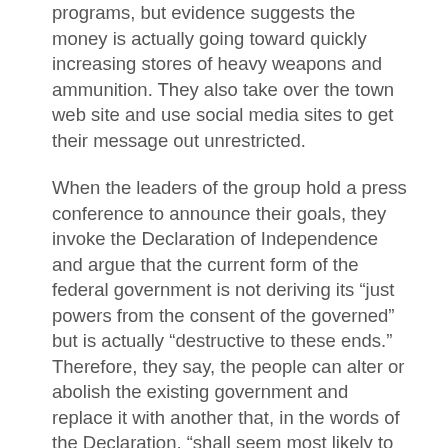programs, but evidence suggests the money is actually going toward quickly increasing stores of heavy weapons and ammunition. They also take over the town web site and use social media sites to get their message out unrestricted.
When the leaders of the group hold a press conference to announce their goals, they invoke the Declaration of Independence and argue that the current form of the federal government is not deriving its “just powers from the consent of the governed” but is actually “destructive to these ends.” Therefore, they say, the people can alter or abolish the existing government and replace it with another that, in the words of the Declaration, “shall seem most likely to effect their safety and happiness.” While mainstream politicians and citizens react with alarm, the “tea party” insurrectionists in South Carolina enjoy a groundswell of support from other tea party groups, militias, racist organizations such as the Ku Klux Klan, anti-immigrant associations such as the Minutemen, and other right-wing groups